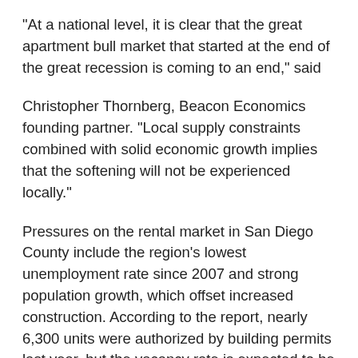“At a national level, it is clear that the great apartment bull market that started at the end of the great recession is coming to an end,” said
Christopher Thornberg, Beacon Economics founding partner. “Local supply constraints combined with solid economic growth implies that the softening will not be experienced locally.”
Pressures on the rental market in San Diego County include the region’s lowest unemployment rate since 2007 and strong population growth, which offset increased construction. According to the report, nearly 6,300 units were authorized by building permits last year, but the vacancy rate is expected to be 4.8 percent, similar to what it is now.
Bostic also noted that most multifamily construction